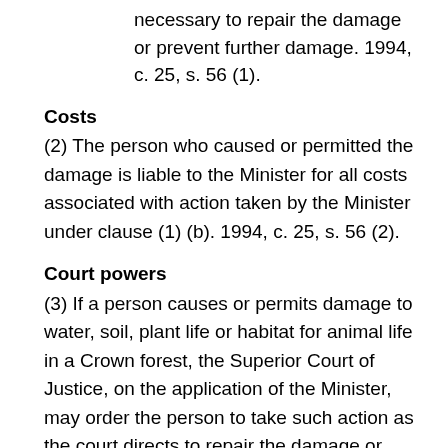(b) take such action as the Minister considers necessary to repair the damage or prevent further damage. 1994, c. 25, s. 56 (1).
Costs
(2) The person who caused or permitted the damage is liable to the Minister for all costs associated with action taken by the Minister under clause (1) (b). 1994, c. 25, s. 56 (2).
Court powers
(3) If a person causes or permits damage to water, soil, plant life or habitat for animal life in a Crown forest, the Superior Court of Justice, on the application of the Minister, may order the person to take such action as the court directs to repair the damage or prevent further damage. 1994, c. 25, s. 56 (3); 2001, c. 9, Sched. K…